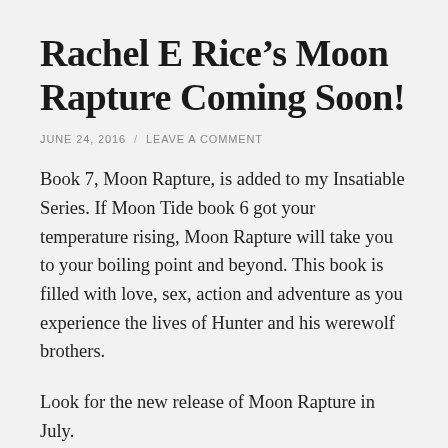Rachel E Rice’s Moon Rapture Coming Soon!
JUNE 24, 2016 / LEAVE A COMMENT
Book 7, Moon Rapture, is added to my Insatiable Series. If Moon Tide book 6 got your temperature rising, Moon Rapture will take you to your boiling point and beyond. This book is filled with love, sex, action and adventure as you experience the lives of Hunter and his werewolf brothers.
Look for the new release of Moon Rapture in July.
Look for an excerpt from Moon Rapture coming